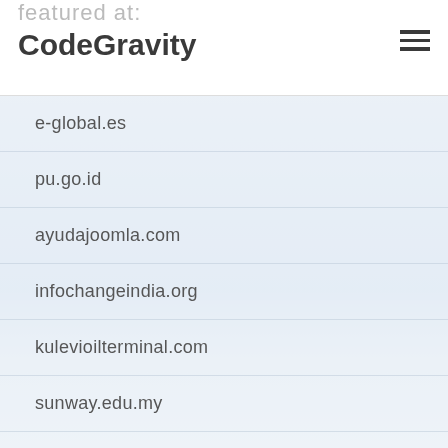featured at: CodeGravity
e-global.es
pu.go.id
ayudajoomla.com
infochangeindia.org
kulevioilterminal.com
sunway.edu.my
northsidebaseball.com